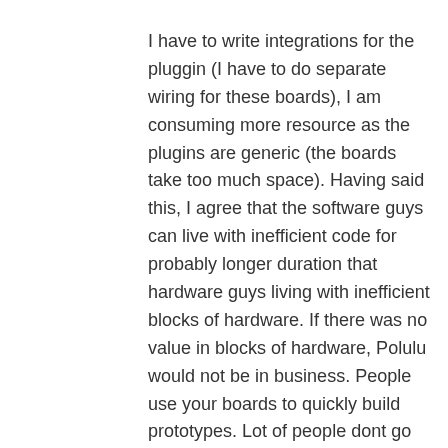I have to write integrations for the pluggin (I have to do separate wiring for these boards), I am consuming more resource as the plugins are generic (the boards take too much space). Having said this, I agree that the software guys can live with inefficient code for probably longer duration that hardware guys living with inefficient blocks of hardware. If there was no value in blocks of hardware, Polulu would not be in business. People use your boards to quickly build prototypes. Lot of people dont go beyond that. The ones that do, builds custom stuff beyond that point. That is exactly the way it works in the software world too my friend.
My point is Hardware is no different...